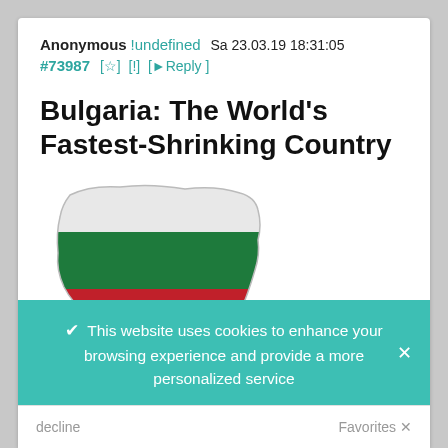Anonymous !undefined   Sa 23.03.19 18:31:05
#73987 [☆] [!] [Reply]
Bulgaria: The World's Fastest-Shrinking Country
[Figure (map): Map of Bulgaria shown as the Bulgarian flag colors (white, green, red horizontal stripes) in the shape of the country's borders]
1553349431904.jpg
https://www.youtube.com/watch?v=c9Ufhi_42h0
[ Embed ]
✔ This website uses cookies to enhance your browsing experience and provide a more personalized service
decline   Favorites ✕